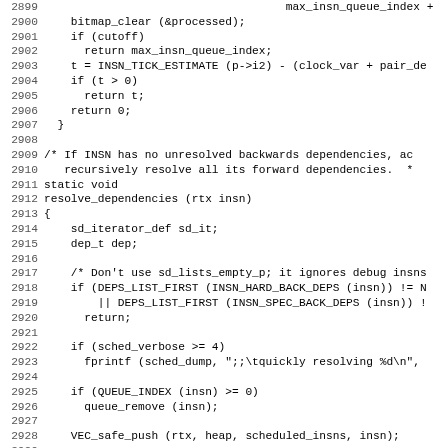Source code listing lines 2899-2930, C programming language, showing bitmap_clear, resolve_dependencies function definition and body